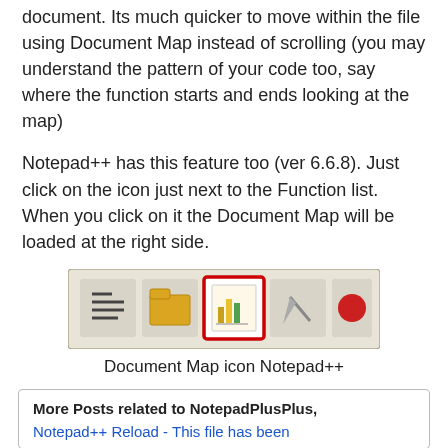document. Its much quicker to move within the file using Document Map instead of scrolling (you may understand the pattern of your code too, say where the function starts and ends looking at the map)
Notepad++ has this feature too (ver 6.6.8). Just click on the icon just next to the Function list. When you click on it the Document Map will be loaded at the right side.
[Figure (screenshot): Notepad++ toolbar screenshot showing the Document Map icon highlighted with a red border]
Document Map icon Notepad++
More Posts related to NotepadPlusPlus,
Notepad++ Reload - This file has been